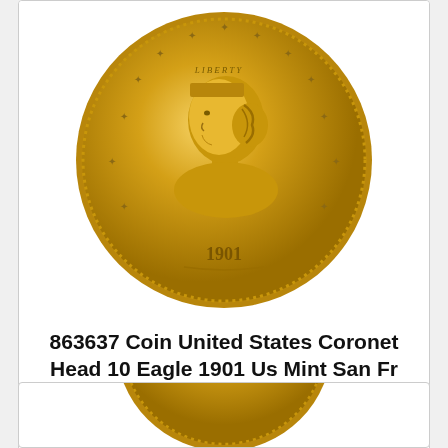[Figure (photo): Gold coin - 1901 United States Coronet Head 10 Eagle, obverse side showing Lady Liberty portrait with crown and stars around the rim, date 1901 at bottom]
863637 Coin United States Coronet Head 10 Eagle 1901 Us Mint San Fr
863637 Coin United States Coronet Head 10 Eagle 1901 Us Mint San Fr
$1508.00
[Figure (photo): Partial view of another gold coin, bottom portion visible]